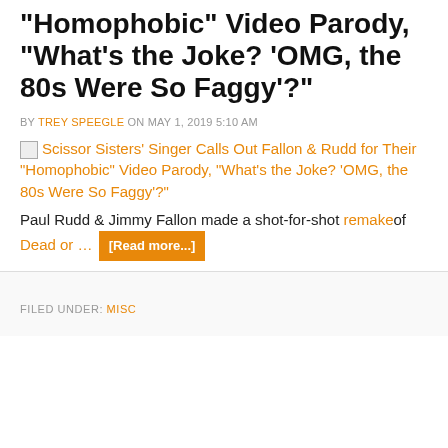Scissor Sisters' Singer Calls Out Fallon & Rudd for Their "Homophobic" Video Parody, "What's the Joke? 'OMG, the 80s Were So Faggy'?"
BY TREY SPEEGLE ON MAY 1, 2019 5:10 AM
Scissor Sisters' Singer Calls Out Fallon & Rudd for Their "Homophobic" Video Parody, "What's the Joke? 'OMG, the 80s Were So Faggy'?"
Paul Rudd & Jimmy Fallon made a shot-for-shot remake of Dead or … [Read more...]
FILED UNDER: MISC